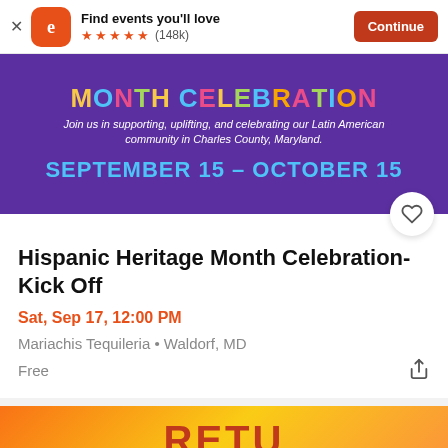[Figure (screenshot): Eventbrite app banner with logo, 'Find events you'll love' text, 5 star rating (148k reviews), and orange Continue button]
[Figure (infographic): Hispanic Heritage Month Celebration banner on purple background with colorful text: 'MONTH CELEBRATION', subtitle 'Join us in supporting, uplifting, and celebrating our Latin American community in Charles County, Maryland.', and 'SEPTEMBER 15 - OCTOBER 15' in cyan text]
Hispanic Heritage Month Celebration- Kick Off
Sat, Sep 17, 12:00 PM
Mariachis Tequileria • Waldorf, MD
Free
[Figure (photo): Partial view of another event banner at the bottom of the page with orange and yellow colors]